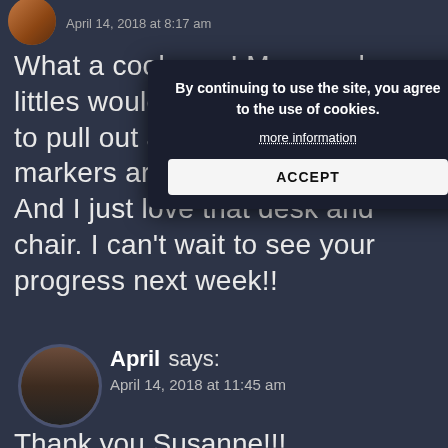April 14, 2018 at 8:17 am
What a cool area! My grand littles would LOVE this! ... paper to pull out and draw ... the markers are a crafters heaven! And I just love that desk and chair. I can't wait to see your progress next week!!
Reply
[Figure (photo): Round avatar photo of April, a woman with long dark hair]
April says:
April 14, 2018 at 11:45 am
Thank you Susanne!!!
By continuing to use the site, you agree to the use of cookies. more information ACCEPT